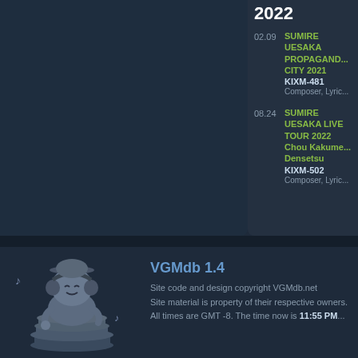2022
02.09 SUMIRE UESAKA PROPAGANDA CITY 2021 KIXM-481 Composer, Lyric...
08.24 SUMIRE UESAKA LIVE TOUR 2022 Chou Kakume... Densetsu KIXM-502 Composer, Lyric...
VGMdb 1.4
Site code and design copyright VGMdb.net
Site material is property of their respective owners.
All times are GMT -8. The time now is 11:55 PM...
[Figure (illustration): VGMdb mascot character: a cartoon boy wearing headphones, sitting on a stack of records/CDs, with musical notes around him, in muted blue-gray tones]